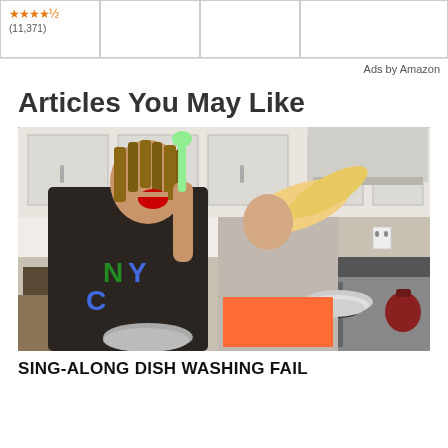[Figure (other): Amazon ad row showing one visible product cell with star rating (4.5 stars, 11,371 reviews) and three partially visible empty product cells]
Ads by Amazon
Articles You May Like
[Figure (photo): Photo of two people in a kitchen dancing/singing while doing dishes. Man in foreground wearing a black NYC tank top, holding a dish brush up like a microphone, laughing. Woman in background wearing grey top and orange shorts, spinning with long blonde hair flying, holding plates.]
SING-ALONG DISH WASHING FAIL